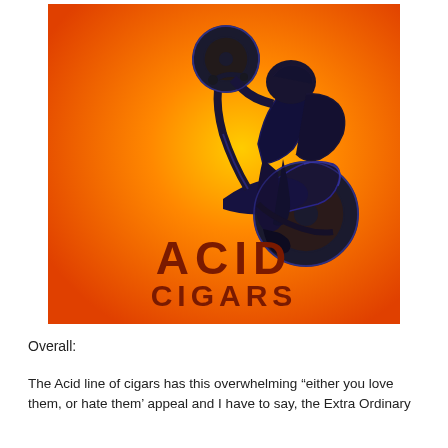[Figure (illustration): ACID CIGARS advertisement image: dark navy/black silhouette of a motorcyclist doing a wheelie on an orange-to-yellow gradient background. Bold dark red text reads 'ACID' on top line and 'CIGARS' below it at the bottom of the image.]
Overall:
The Acid line of cigars has this overwhelming "either you love them, or hate them' appeal and I have to say, the Extra Ordinary